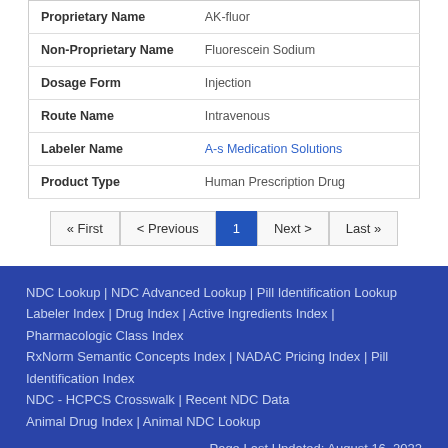| Field | Value |
| --- | --- |
| Proprietary Name | AK-fluor |
| Non-Proprietary Name | Fluorescein Sodium |
| Dosage Form | Injection |
| Route Name | Intravenous |
| Labeler Name | A-s Medication Solutions |
| Product Type | Human Prescription Drug |
« First < Previous 1 Next › Last »
NDC Lookup | NDC Advanced Lookup | Pill Identification Lookup Labeler Index | Drug Index | Active Ingredients Index | Pharmacologic Class Index RxNorm Semantic Concepts Index | NADAC Pricing Index | Pill Identification Index NDC - HCPCS Crosswalk | Recent NDC Data Animal Drug Index | Animal NDC Lookup Page Last Updated: August 16, 2022